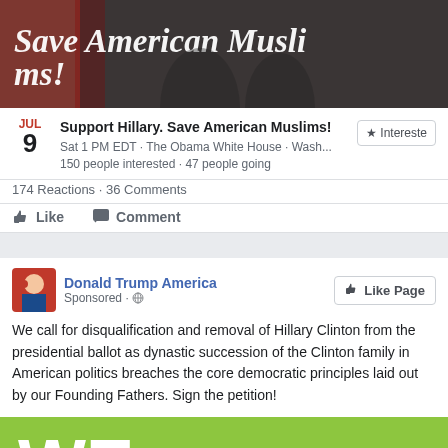[Figure (screenshot): Facebook event post screenshot showing a photo with white handwritten text 'Save American Muslims' overlaid on a dark background with figures]
Support Hillary. Save American Muslims!
Sat 1 PM EDT · The Obama White House · Wash...
150 people interested · 47 people going
174 Reactions · 36 Comments
Like   Comment
Donald Trump America
Sponsored
We call for disqualification and removal of Hillary Clinton from the presidential ballot as dynastic succession of the Clinton family in American politics breaches the core democratic principles laid out by our Founding Fathers. Sign the petition!
[Figure (screenshot): Green banner image with large white text 'WE the' and dark green text 'PEOPLE' partially visible at bottom]